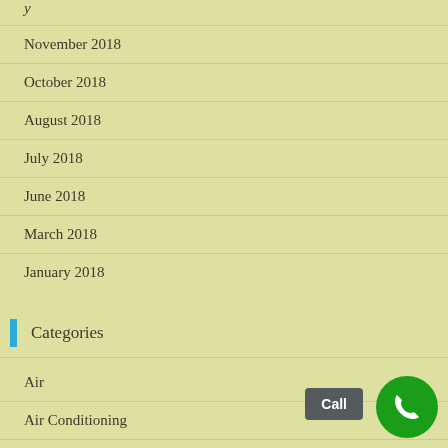November 2018
October 2018
August 2018
July 2018
June 2018
March 2018
January 2018
Categories
Air
Air Conditioning
Air Duct